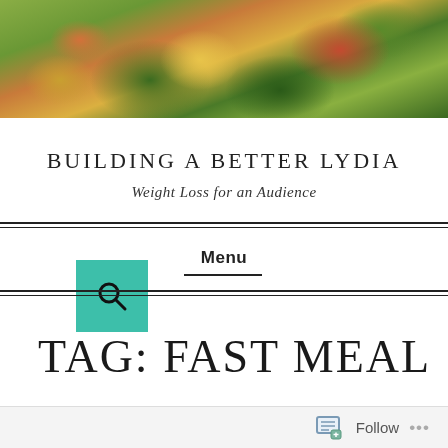[Figure (photo): Close-up photo of a colorful salad with vegetables including kale, carrots, orange peppers, almonds, and cranberries]
[Figure (other): Teal/green search button with magnifying glass icon]
BUILDING A BETTER LYDIA
Weight Loss for an Audience
Menu
TAG: FAST MEAL
Follow ...